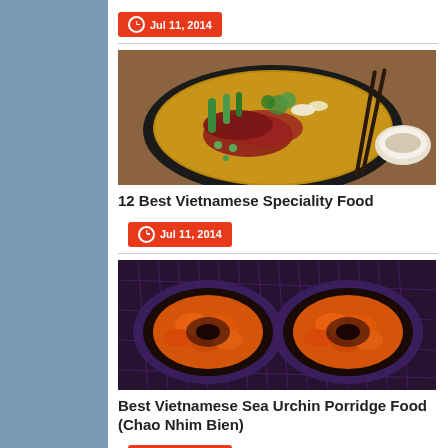Jul 11, 2014
[Figure (photo): Bowl of Vietnamese pho soup with beef slices, green vegetables, and chopsticks on the side]
12 Best Vietnamese Speciality Food
Jul 11, 2014
[Figure (photo): Sea urchins cut open showing orange roe inside, arranged on a dark surface]
Best Vietnamese Sea Urchin Porridge Food (Chao Nhim Bien)
Jul 11, 2014